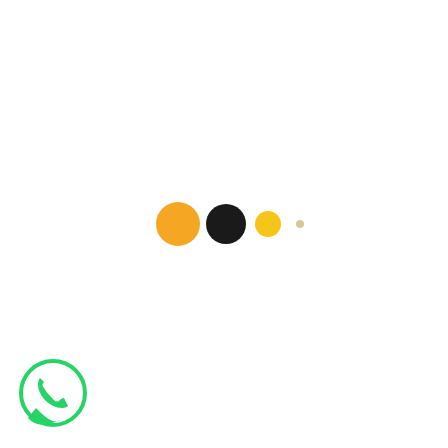[Figure (other): A loading animation indicator showing four dots in a row: a large orange filled circle, a large dark/black filled circle, a medium yellow/gold filled circle, and a very small light dot, arranged horizontally near the center of the page.]
[Figure (logo): WhatsApp logo icon: a green circle outline with a white phone handset silhouette inside, located in the bottom-left corner of the page.]